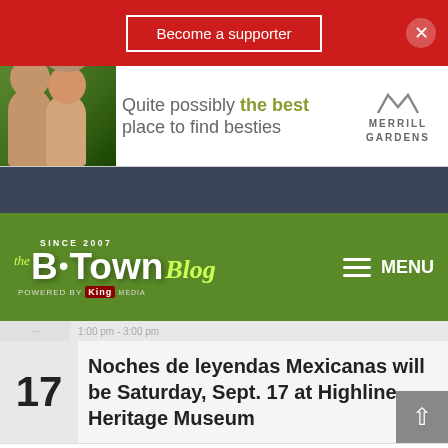[Figure (screenshot): Red top bar with 'Become a supporter' button and close X button]
[Figure (screenshot): Advertisement banner: Quite possibly the best place to find besties - Merrill Gardens]
[Figure (logo): The B-Town Blog - Since 2007 - Powered by King Media logo on green background with MENU hamburger]
17
Noches de leyendas Mexicanas will be Saturday, Sept. 17 at Highline Heritage Museum
SEP
23
7:00 pm - 9:00 pm
Enjoy an 'Owl Prowl' at Seahurst Park on Friday night, Sept. 23
View Calendar
English